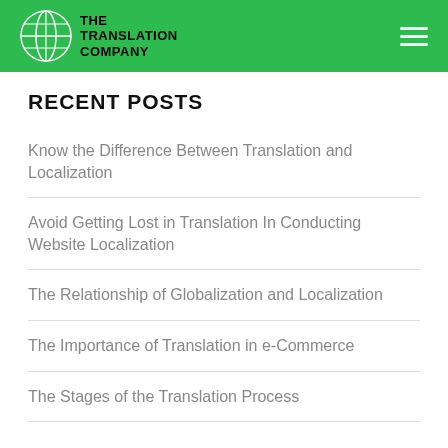The Translation Company
RECENT POSTS
Know the Difference Between Translation and Localization
Avoid Getting Lost in Translation In Conducting Website Localization
The Relationship of Globalization and Localization
The Importance of Translation in e-Commerce
The Stages of the Translation Process